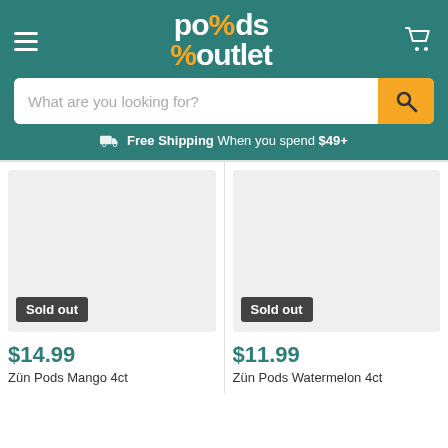[Figure (logo): Pounds Outlet logo with white text 'po/ds outlet' and orange percent sign]
What are you looking for?
Free Shipping When you spend $49+
[Figure (photo): Product image placeholder (gray) with 'Sold out' badge. Price $14.99. Product: Zün Pods Mango 4ct]
[Figure (photo): Product image placeholder (gray) with 'Sold out' badge. Price $11.99. Product: Zün Pods Watermelon 4ct]